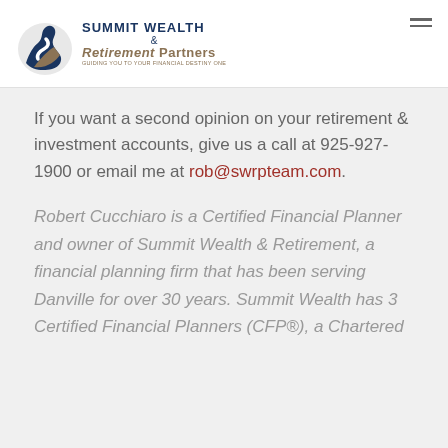[Figure (logo): Summit Wealth & Retirement Partners logo with stylized S mountain icon and text]
If you want a second opinion on your retirement & investment accounts, give us a call at 925-927-1900 or email me at rob@swrpteam.com.
Robert Cucchiaro is a Certified Financial Planner and owner of Summit Wealth & Retirement, a financial planning firm that has been serving Danville for over 30 years. Summit Wealth has 3 Certified Financial Planners (CFP®), a Chartered